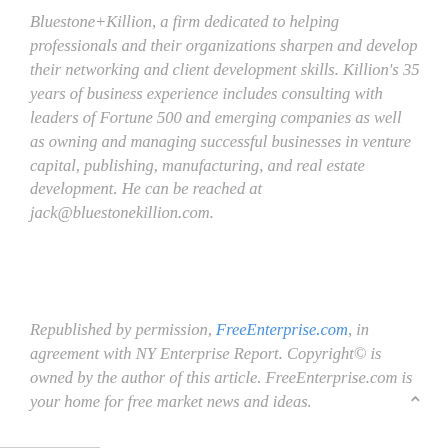Bluestone+Killion, a firm dedicated to helping professionals and their organizations sharpen and develop their networking and client development skills. Killion's 35 years of business experience includes consulting with leaders of Fortune 500 and emerging companies as well as owning and managing successful businesses in venture capital, publishing, manufacturing, and real estate development. He can be reached at jack@bluestonekillion.com.
Republished by permission, FreeEnterprise.com, in agreement with NY Enterprise Report. Copyright© is owned by the author of this article. FreeEnterprise.com is your home for free market news and ideas.